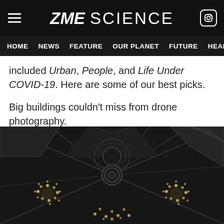ZME SCIENCE
HOME  NEWS  FEATURE  OUR PLANET  FUTURE  HEALT
included Urban, People, and Life Under COVID-19. Here are some of our best picks.
Big buildings couldn't miss from drone photography.
[Figure (photo): Drone aerial photograph looking up at a grand ornate building interior, with elaborate chandeliers with glowing lights and decorative ceiling architecture in dark monochrome tones.]